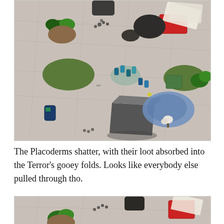[Figure (photo): Overhead view of a tabletop miniature wargame battlefield with painted miniatures, terrain pieces including rocks, green bushes, brown oval mats, a grey building, a blue cloth oval, and scattered gaming accessories on a grey texture mat.]
The Placoderms shatter, with their loot absorbed into the Terror’s gooey folds. Looks like everybody else pulled through tho.
[Figure (photo): Partial overhead view of the same tabletop miniature wargame battlefield showing the top portion of the scene with green bush terrain, rocks, a black figure, and a red tray on the grey mat.]